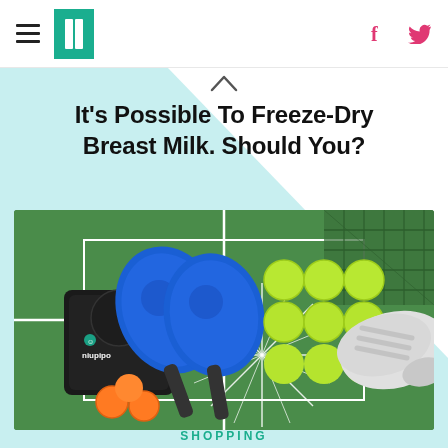HuffPost navigation with hamburger menu, logo, Facebook and Twitter icons
It's Possible To Freeze-Dry Breast Milk. Should You?
[Figure (photo): Pickleball set product photo showing blue paddles with niupipo branding, yellow-green and orange pickleballs, and athletic shoes on a green court background with starburst graphic]
SHOPPING